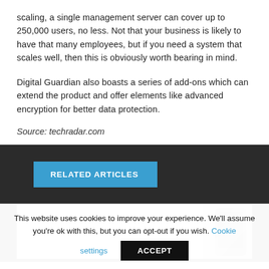scaling, a single management server can cover up to 250,000 users, no less. Not that your business is likely to have that many employees, but if you need a system that scales well, then this is obviously worth bearing in mind.
Digital Guardian also boasts a series of add-ons which can extend the product and offer elements like advanced encryption for better data protection.
Source: techradar.com
RELATED ARTICLES
[Figure (screenshot): Dark background section with a preview image of a device (phone/laptop) partially visible on the right side]
This website uses cookies to improve your experience. We'll assume you're ok with this, but you can opt-out if you wish. Cookie settings ACCEPT